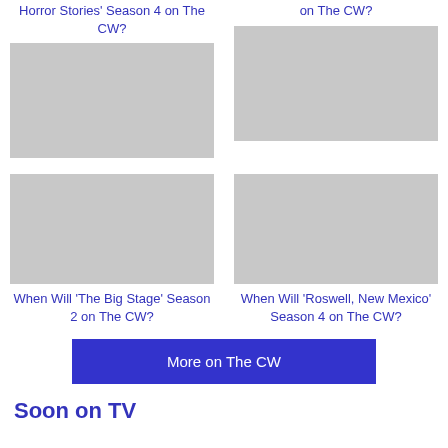Horror Stories' Season 4 on The CW?
on The CW?
[Figure (photo): Placeholder image for Horror Stories Season 4]
[Figure (photo): Placeholder image for another CW show]
When Will 'The Big Stage' Season 2 on The CW?
When Will 'Roswell, New Mexico' Season 4 on The CW?
[Figure (photo): Placeholder image for The Big Stage Season 2]
[Figure (photo): Placeholder image for Roswell New Mexico Season 4]
More on The CW
Soon on TV